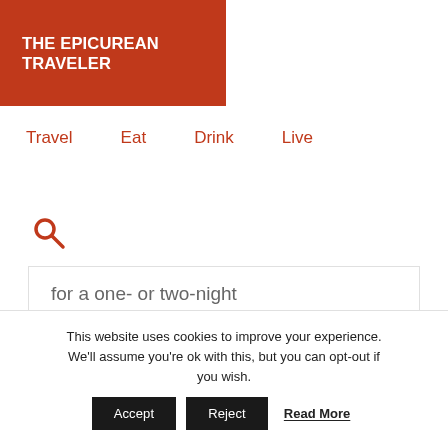THE EPICUREAN TRAVELER
Travel   Eat   Drink   Live
[Figure (other): Search icon (magnifying glass) in orange/red color]
for a one- or two-night getaway!
This website uses cookies to improve your experience. We'll assume you're ok with this, but you can opt-out if you wish.
Accept   Reject   Read More